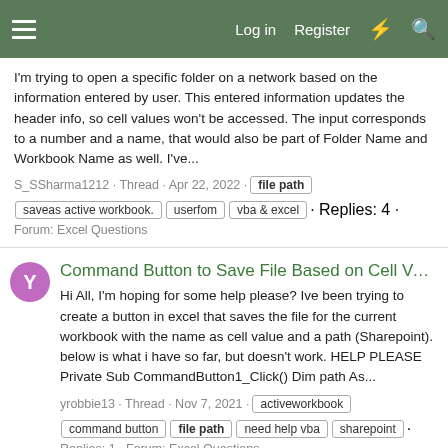Log in  Register
I'm trying to open a specific folder on a network based on the information entered by user. This entered information updates the header info, so cell values won't be accessed. The input corresponds to a number and a name, that would also be part of Folder Name and Workbook Name as well. I've...
S_SSharma1212 · Thread · Apr 22, 2022 · file path  saveas active workbook.  userfom  vba & excel · Replies: 4 · Forum: Excel Questions
Command Button to Save File Based on Cell Value
Hi All, I'm hoping for some help please? Ive been trying to create a button in excel that saves the file for the current workbook with the name as cell value and a path (Sharepoint). below is what i have so far, but doesn't work. HELP PLEASE Private Sub CommandButton1_Click() Dim path As...
yrobbie13 · Thread · Nov 7, 2021 · activeworkbook  command button  file path  need help vba  sharepoint · Replies: 1 · Forum: Excel Questions
VBA Get File Path of Active Workbook as String